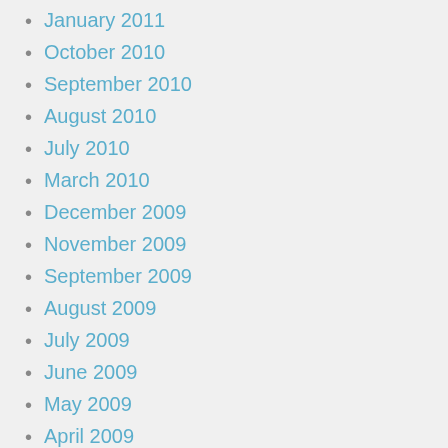January 2011
October 2010
September 2010
August 2010
July 2010
March 2010
December 2009
November 2009
September 2009
August 2009
July 2009
June 2009
May 2009
April 2009
March 2009
February 2009
January 2009
December 2008
November 2008